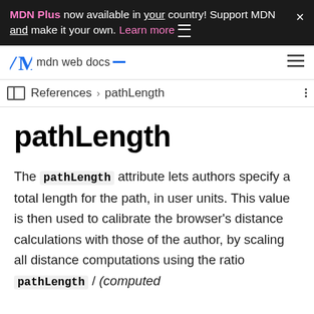MDN Plus now available in your country! Support MDN and make it your own. Learn more
mdn web docs
References > pathLength
pathLength
The pathLength attribute lets authors specify a total length for the path, in user units. This value is then used to calibrate the browser's distance calculations with those of the author, by scaling all distance computations using the ratio pathLength / (computed